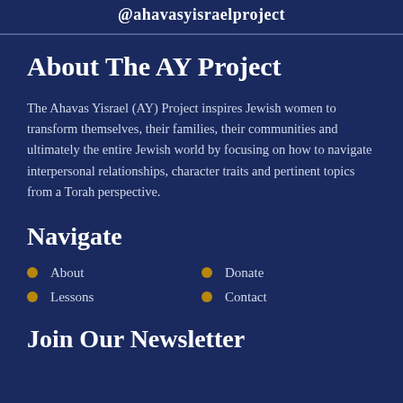@ahavasyisraelproject
About The AY Project
The Ahavas Yisrael (AY) Project inspires Jewish women to transform themselves, their families, their communities and ultimately the entire Jewish world by focusing on how to navigate interpersonal relationships, character traits and pertinent topics from a Torah perspective.
Navigate
About
Donate
Lessons
Contact
Join Our Newsletter